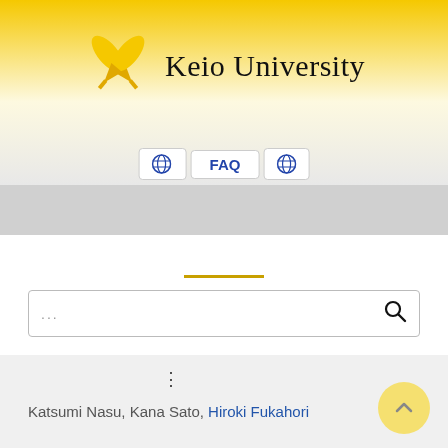[Figure (logo): Keio University logo with crossed quill pens in gold/yellow and the text 'Keio University' in serif font]
[Figure (screenshot): Navigation bar with globe icons and FAQ button]
[Figure (other): Yellow horizontal divider line]
[Figure (screenshot): Search box with placeholder dots and magnifying glass icon]
⋮
Katsumi Nasu, Kana Sato, Hiroki Fukahori